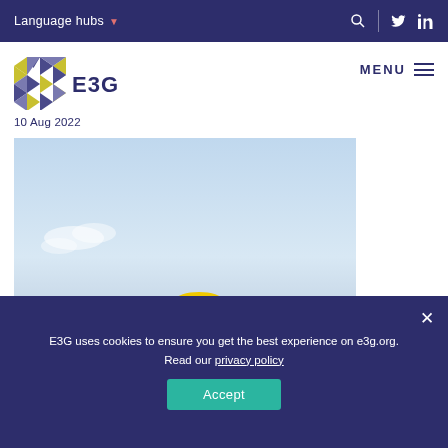Language hubs
[Figure (logo): E3G hexagonal logo with colorful geometric pattern]
E3G
MENU
10 Aug 2022
[Figure (photo): Person wearing a yellow hard hat against a blue sky background]
E3G uses cookies to ensure you get the best experience on e3g.org. Read our privacy policy
Accept